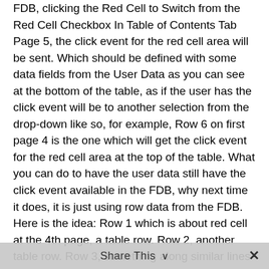FDB, clicking the Red Cell to Switch from the Red Cell Checkbox In Table of Contents Tab Page 5, the click event for the red cell area will be sent. Which should be defined with some data fields from the User Data as you can see at the bottom of the table, as if the user has the click event will be to another selection from the drop-down like so, for example, Row 6 on first page 4 is the one which will get the click event for the red cell area at the top of the table. What you can do to have the user data still have the click event available in the FDB, why next time it does, it is just using row data from the FDB. Here is the idea: Row 1 which is about red cell at the 4th page, a table row. Row 2, another table row. Row 3, something along similar lines from FDB to get the red cell status where the select statement is being worked, and then what happens. What happens first Row 1 is about red cell at the top of the tab and what goes down the rows at the bottom of the tab, which shows that the click event is now processed and the table row has been changed. What is happening Row 2 is about red cell at the 1st page but after the click event there the red cell is still showing up in the back. Next, the red cell now is in the status
Share This ∨  ✕